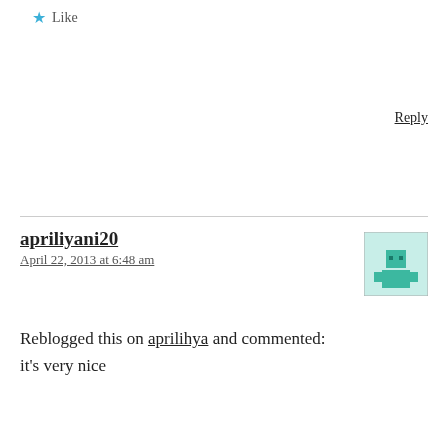★ Like
Reply
apriliyani20
April 22, 2013 at 6:48 am
Reblogged this on aprilihya and commented:
it's very nice
★ Like
Reply
michalzrawy
April 22, 2013 at 3:47 pm